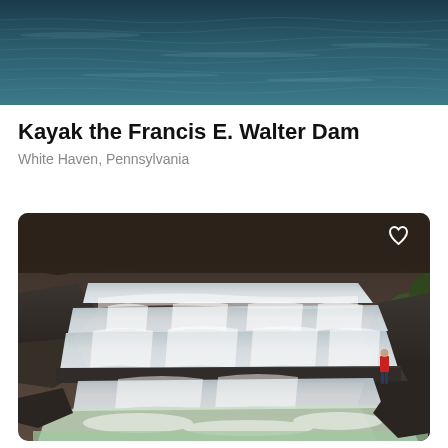[Figure (photo): Aerial view of dark blue-green water, partially cropped at top of page]
Kayak the Francis E. Walter Dam
White Haven, Pennsylvania
[Figure (photo): Waterfall cascading over rocky ledges in multiple tiers, with a person in a red jacket standing to the right on rocks, surrounded by bare trees. A heart/favorite icon is visible in the top-right corner of the image.]